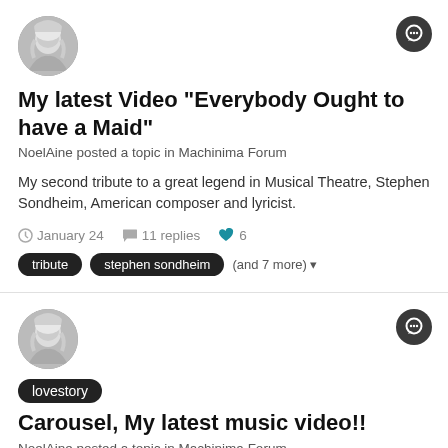[Figure (illustration): User avatar - grayscale photo of a woman with blonde hair]
My latest Video "Everybody Ought to have a Maid"
NoelAine posted a topic in Machinima Forum
My second tribute to a great legend in Musical Theatre, Stephen Sondheim, American composer and lyricist.
January 24   11 replies   6
tribute   stephen sondheim   (and 7 more)
[Figure (illustration): User avatar - grayscale photo of a woman with blonde hair]
lovestory  Carousel, My latest music video!!
NoelAine posted a topic in Machinima Forum
Hi Everyone! Excited to have just launched a fun little video. Enjoy!!